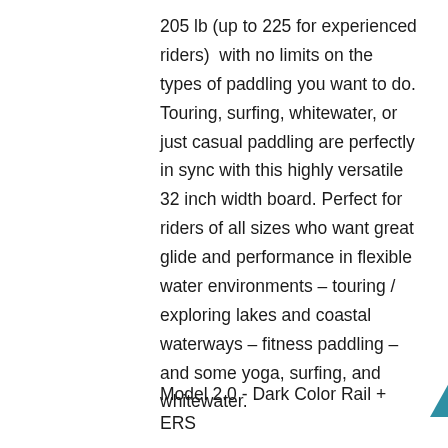205 lb (up to 225 for experienced riders)  with no limits on the types of paddling you want to do. Touring, surfing, whitewater, or just casual paddling are perfectly in sync with this highly versatile 32 inch width board. Perfect for riders of all sizes who want great glide and performance in flexible water environments – touring / exploring lakes and coastal waterways – fitness paddling – and some yoga, surfing, and whitewater.
Model 2.0 - Dark Color Rail + ERS